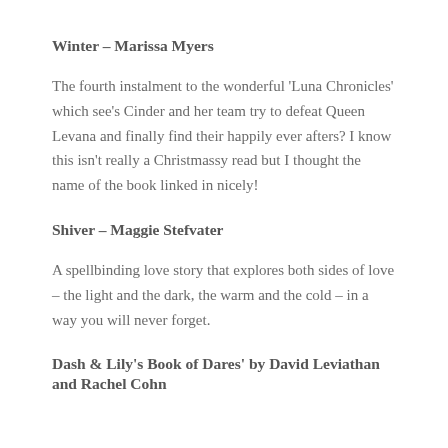Winter – Marissa Myers
The fourth instalment to the wonderful 'Luna Chronicles' which see's Cinder and her team try to defeat Queen Levana and finally find their happily ever afters? I know this isn't really a Christmassy read but I thought the name of the book linked in nicely!
Shiver – Maggie Stefvater
A spellbinding love story that explores both sides of love – the light and the dark, the warm and the cold – in a way you will never forget.
Dash & Lily's Book of Dares' by David Leviathan and Rachel Cohn